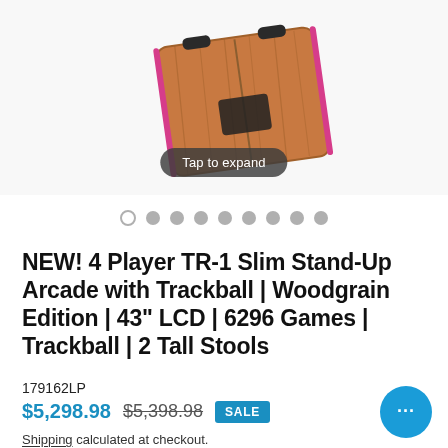[Figure (photo): Arcade cabinet with woodgrain finish, pink trim, angled top-down view with black joystick hardware visible]
Tap to expand
NEW! 4 Player TR-1 Slim Stand-Up Arcade with Trackball | Woodgrain Edition | 43" LCD | 6296 Games | Trackball | 2 Tall Stools
179162LP
$5,298.98 $5,398.98 SALE
Shipping calculated at checkout.